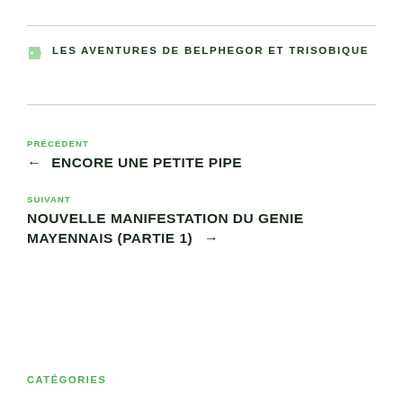LES AVENTURES DE BELPHEGOR ET TRISOBIQUE
PRÉCÉDENT
← ENCORE UNE PETITE PIPE
SUIVANT
NOUVELLE MANIFESTATION DU GENIE MAYENNAIS (partie 1) →
CATÉGORIES